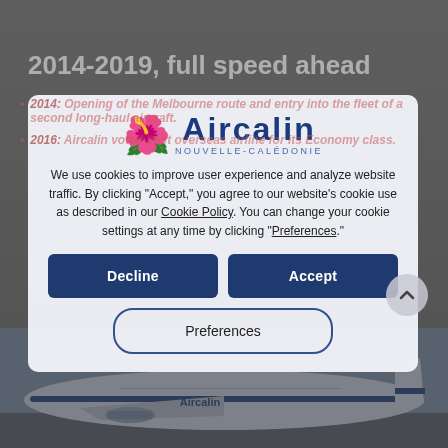2014-2019, full speed ahead
2014: Opening of the Melbourne route and entry into the fleet of a second long-haul aircraft.
2016: Aircalin voted best overseas airline for its Economy class.
[Figure (logo): Aircalin airline logo with red hibiscus flower and blue bold text 'Aircalin' with subtitle 'Nouvelle-Calédonie']
We use cookies to improve user experience and analyze website traffic. By clicking "Accept," you agree to our website's cookie use as described in our Cookie Policy. You can change your cookie settings at any time by clicking "Preferences."
Decline
Accept
Preferences
[Figure (photo): Aircalin aircraft parked on tarmac, view from below showing fuselage with Aircalin livery]